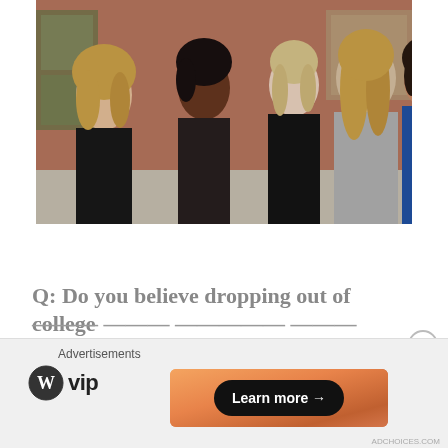[Figure (photo): Five women standing together outdoors in front of a brick wall, smiling and conversing. They are dressed in dark clothing.]
Q: Do you believe dropping out of college
Advertisements
[Figure (logo): WordPress VIP logo with circular WordPress icon and 'vip' text]
[Figure (other): Orange gradient advertisement banner with a 'Learn more →' button in a dark pill shape]